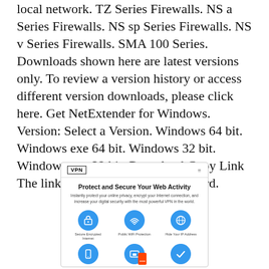local network. TZ Series Firewalls. NS a Series Firewalls. NS sp Series Firewalls. NS v Series Firewalls. SMA 100 Series. Downloads shown here are latest versions only. To review a version history or access different version downloads, please click here. Get NetExtender for Windows. Version: Select a Version. Windows 64 bit. Windows exe 64 bit. Windows 32 bit. Windows exe 32 bit. Download Copy Link The link has been copied to clipboard.
[Figure (screenshot): A screenshot of a VPN app interface showing 'Protect and Secure Your Web Activity' with icons for Secure Encrypted Internet, Public WiFi Protection, Hide Your IP Address, and other features.]